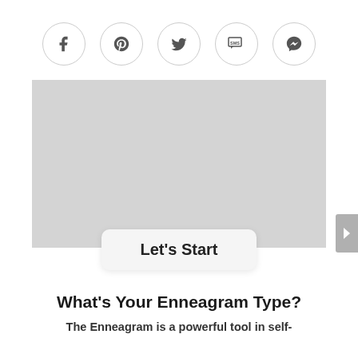[Figure (other): Row of five social sharing icon buttons in circles: Facebook, Pinterest, Twitter, SMS, Messenger]
[Figure (other): Large grey placeholder image rectangle]
Let's Start
What's Your Enneagram Type?
The Enneagram is a powerful tool in self-